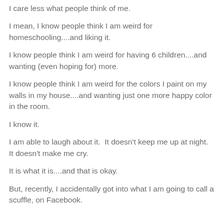I care less what people think of me.
I mean, I know people think I am weird for homeschooling....and liking it.
I know people think I am weird for having 6 children....and wanting (even hoping for) more.
I know people think I am weird for the colors I paint on my walls in my house....and wanting just one more happy color in the room.
I know it.
I am able to laugh about it.  It doesn't keep me up at night.  It doesn't make me cry.
It is what it is....and that is okay.
But, recently, I accidentally got into what I am going to call a scuffle, on Facebook.